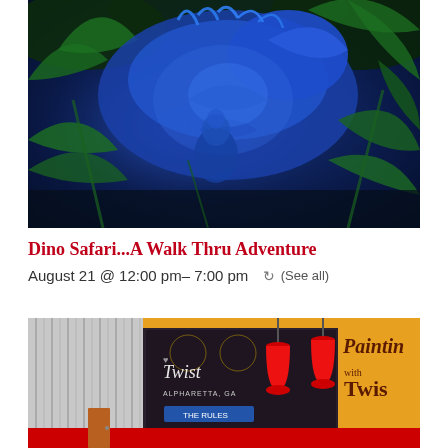[Figure (photo): Dark blue-lit dinosaur safari scene with large dinosaur figures and green jungle foliage under UV/black light]
Dino Safari...A Walk Thru Adventure
August 21 @ 12:00 pm- 7:00 pm  (See all)
[Figure (photo): Interior of Painting with a Twist studio in Alpharetta, GA, showing red pendant lights and signage]